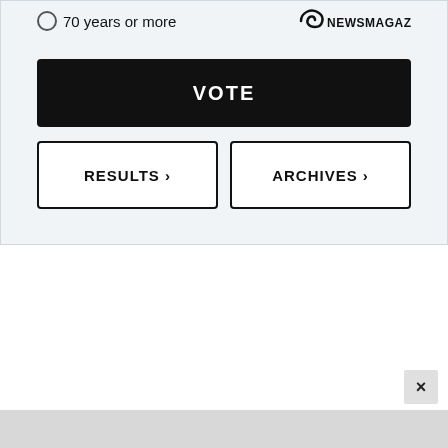70 years or more
[Figure (logo): News magazine logo with stylized icon and text NEWSMAGAZINE]
VOTE
RESULTS >
ARCHIVES >
×